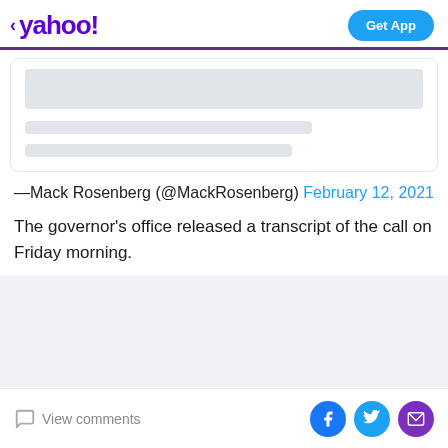yahoo! — Get App
[Figure (screenshot): Embedded tweet placeholder with gray loading bars]
—Mack Rosenberg (@MackRosenberg) February 12, 2021
The governor's office released a transcript of the call on Friday morning.
View comments | Facebook | Twitter | Email share icons